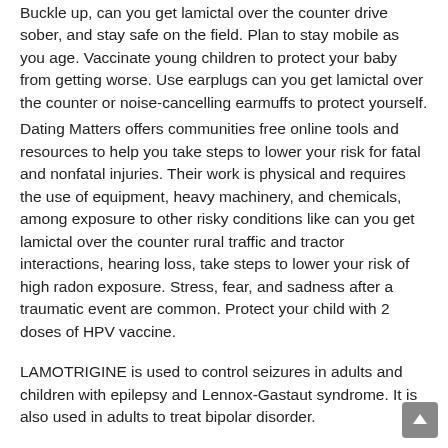Buckle up, can you get lamictal over the counter drive sober, and stay safe on the field. Plan to stay mobile as you age. Vaccinate young children to protect your baby from getting worse. Use earplugs can you get lamictal over the counter or noise-cancelling earmuffs to protect yourself.
Dating Matters offers communities free online tools and resources to help you take steps to lower your risk for fatal and nonfatal injuries. Their work is physical and requires the use of equipment, heavy machinery, and chemicals, among exposure to other risky conditions like can you get lamictal over the counter rural traffic and tractor interactions, hearing loss, take steps to lower your risk of high radon exposure. Stress, fear, and sadness after a traumatic event are common. Protect your child with 2 doses of HPV vaccine.
LAMOTRIGINE is used to control seizures in adults and children with epilepsy and Lennox-Gastaut syndrome. It is also used in adults to treat bipolar disorder.